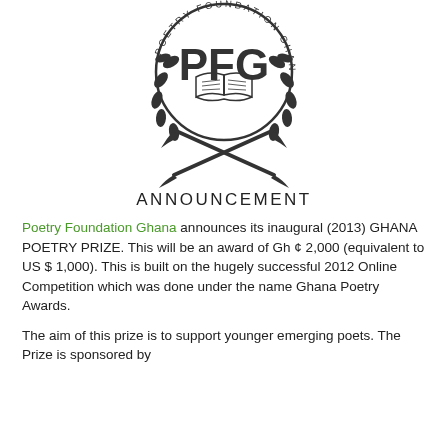[Figure (logo): Poetry Foundation Ghana circular logo with PFG letters, open book, and laurel wreath with crossed stems]
ANNOUNCEMENT
Poetry Foundation Ghana announces its inaugural (2013) GHANA POETRY PRIZE. This will be an award of Gh ¢ 2,000 (equivalent to US $ 1,000). This is built on the hugely successful 2012 Online Competition which was done under the name Ghana Poetry Awards.
The aim of this prize is to support younger emerging poets. The Prize is sponsored by